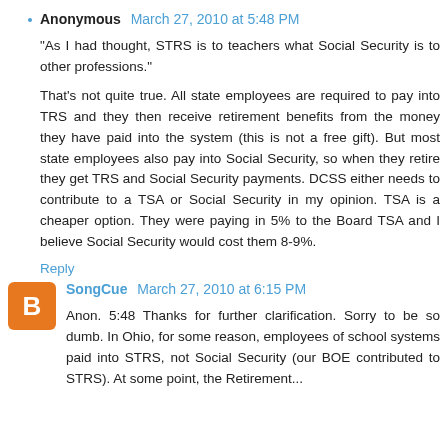Anonymous March 27, 2010 at 5:48 PM
"As I had thought, STRS is to teachers what Social Security is to other professions."
That's not quite true. All state employees are required to pay into TRS and they then receive retirement benefits from the money they have paid into the system (this is not a free gift). But most state employees also pay into Social Security, so when they retire they get TRS and Social Security payments. DCSS either needs to contribute to a TSA or Social Security in my opinion. TSA is a cheaper option. They were paying in 5% to the Board TSA and I believe Social Security would cost them 8-9%.
Reply
SongCue March 27, 2010 at 6:15 PM
Anon. 5:48 Thanks for further clarification. Sorry to be so dumb. In Ohio, for some reason, employees of school systems paid into STRS, not Social Security (our BOE contributed to STRS). At some point, the Retirement...